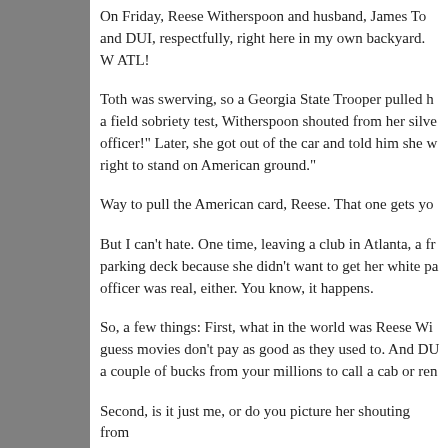On Friday, Reese Witherspoon and husband, James Toth were arrested for obstruction and DUI, respectfully, right here in my own backyard. Welcome to the ATL!
Toth was swerving, so a Georgia State Trooper pulled him over. While giving Toth a field sobriety test, Witherspoon shouted from her silver Mercedes, "Do you know who I am, officer!" Later, she got out of the car and told him she was an American citizen and had a right to stand on American ground."
Way to pull the American card, Reese. That one gets you everywhere.
But I can't hate. One time, leaving a club in Atlanta, a friend of mine refused to leave a parking deck because she didn't want to get her white pants dirty. The fear of the parking officer was real, either. You know, it happens.
So, a few things: First, what in the world was Reese Witherspoon doing in a car? I guess movies don't pay as good as they used to. And DUI? Girl, you couldn't spare a couple of bucks from your millions to call a cab or rent a limo?
Second, is it just me, or do you picture her shouting from the car window...